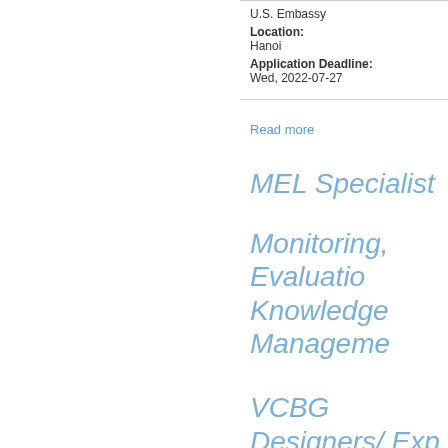U.S. Embassy
Location:
Hanoi
Application Deadline:
Wed, 2022-07-27
Read more
MEL Specialist
Monitoring, Evaluation, Knowledge Management
VCBG Designers/ Experts with Demonstrated VCBG Equipment
VCBG (Vertical Continuous Biomass
Demonstrated VCBG Equipment